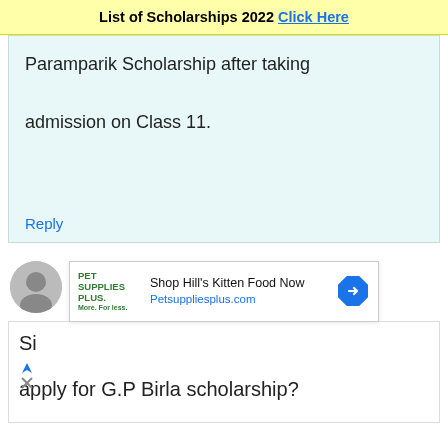List of Scholarships 2022 Click Here
Paramparik Scholarship after taking admission on Class 11.
Reply
koustav sarkar.
August 13, 2019 at 4:47 pm
apply for G.P Birla scholarship?